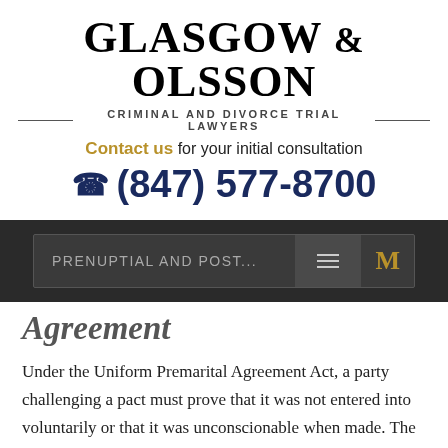GLASGOW & OLSSON
CRIMINAL AND DIVORCE TRIAL LAWYERS
Contact us for your initial consultation
(847) 577-8700
[Figure (screenshot): Navigation bar with text 'PRENUPTIAL AND POST...' and hamburger menu icon and 'M' logo in gold]
Agreement
Under the Uniform Premarital Agreement Act, a party challenging a pact must prove that it was not entered into voluntarily or that it was unconscionable when made. The first challenge--involuntariness--is difficult to establish, because Illinois law essentially requires some form of physical coercion. Unconscionability, on